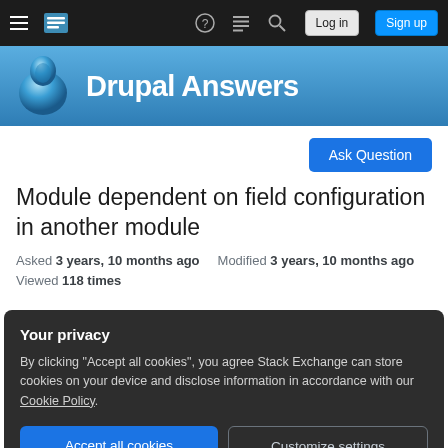Drupal Answers — Navigation bar with Log in and Sign up buttons
Drupal Answers
Ask Question
Module dependent on field configuration in another module
Asked 3 years, 10 months ago   Modified 3 years, 10 months ago
Viewed 118 times
Your privacy
By clicking "Accept all cookies", you agree Stack Exchange can store cookies on your device and disclose information in accordance with our Cookie Policy.
Accept all cookies   Customize settings
put this field storage configuration in my site's config